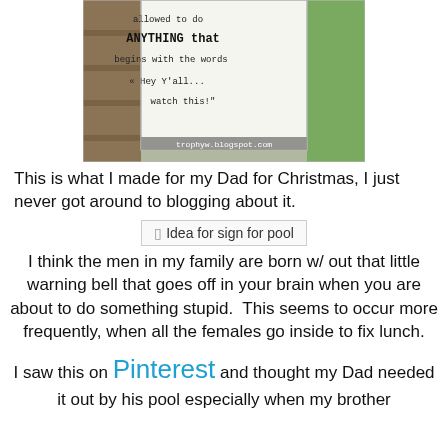[Figure (photo): Photo of a handmade wooden sign reading 'allowed to do ANYTHING that begins with the words "Hey Y'all... watch this!"' with watermark 'trophyw.blogspot.com']
This is what I made for my Dad for Christmas, I just never got around to blogging about it.
[Figure (other): Idea for sign for pool - broken image placeholder]
I think the men in my family are born w/ out that little warning bell that goes off in your brain when you are about to do something stupid.  This seems to occur more frequently, when all the females go inside to fix lunch.
I saw this on Pinterest and thought my Dad needed it out by his pool especially when my brother